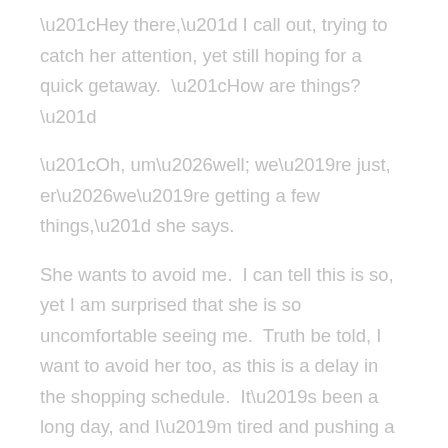“Hey there,” I call out, trying to catch her attention, yet still hoping for a quick getaway.  “How are things?”
“Oh, um…well; we’re just, er…we’re getting a few things,” she says.
She wants to avoid me.  I can tell this is so, yet I am surprised that she is so uncomfortable seeing me.  Truth be told, I want to avoid her too, as this is a delay in the shopping schedule.  It’s been a long day, and I’m tired and pushing a cart with two in it, and one beside.  The three of them are hungry, thirsty and weighing my cart down with the sheer heaviness of their spastic energy.  I try to avoid looking at my children, while I smile widely at